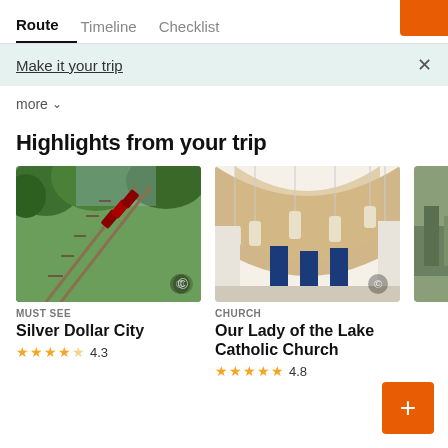Route | Timeline | Checklist
Make it your trip
more ▾
Highlights from your trip
[Figure (photo): Roller coaster (wooden) going up a track through green trees, viewed from below at angle]
MUST SEE
Silver Dollar City
★★★★½ 4.3
[Figure (photo): Interior of church with wooden arched ceiling and hanging pendant lights, blue pillars visible]
CHURCH
Our Lady of the Lake Catholic Church
★★★★★ 4.8